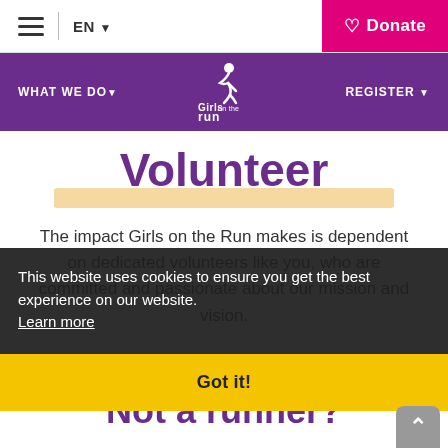≡ | EN ∨  [Donate]
WHAT WE DO∨  Girls on the Run logo  REGISTER∨
Volunteer
The impact Girls on the Run makes is dependent on dedicated volunteers like you, who are committed and passionate about our mission and vision.
This website uses cookies to ensure you get the best experience on our website. Learn more Got it!
Not a runner?